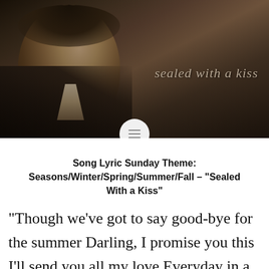[Figure (photo): Sepia-toned black and white photo of a young man in a suit and tie, with text overlay reading 'sealed with a kiss' on the right side of the image. A circular menu icon appears at the bottom center.]
Song Lyric Sunday Theme: Seasons/Winter/Spring/Summer/Fall – “Sealed With a Kiss”
“Though we’ve got to say good-bye for the summer Darling, I promise you this I’ll send you all my love Everyday in a